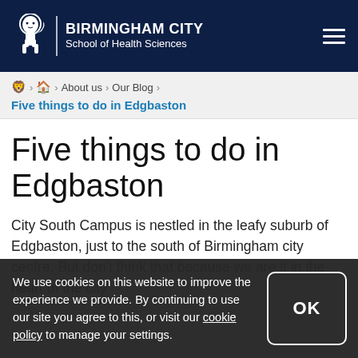BIRMINGHAM CITY School of Health Sciences
🦁 > 🏠 > About us > Our Blog >
Five things to do in Edgbaston
Five things to do in Edgbaston
City South Campus is nestled in the leafy suburb of Edgbaston, just to the south of Birmingham city centre. But don't think that because we are it in the heart of the city
We use cookies on this website to improve the experience we provide. By continuing to use our site you agree to this, or visit our cookie policy to manage your settings.